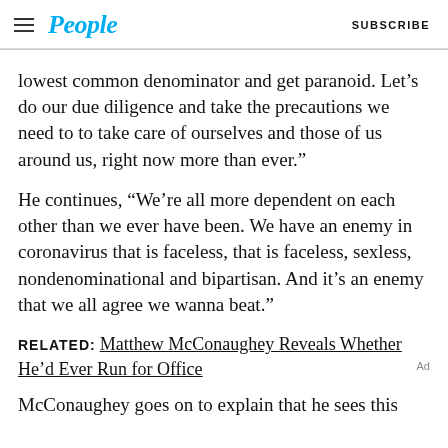People  SUBSCRIBE
lowest common denominator and get paranoid. Let’s do our due diligence and take the precautions we need to to take care of ourselves and those of us around us, right now more than ever.”
He continues, “We’re all more dependent on each other than we ever have been. We have an enemy in coronavirus that is faceless, that is faceless, sexless, nondenominational and bipartisan. And it’s an enemy that we all agree we wanna beat.”
RELATED: Matthew McConaughey Reveals Whether He’d Ever Run for Office
McConaughey goes on to explain that he sees this